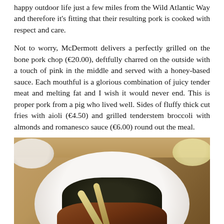happy outdoor life just a few miles from the Wild Atlantic Way and therefore it's fitting that their resulting pork is cooked with respect and care.
Not to worry, McDermott delivers a perfectly grilled on the bone pork chop (€20.00), deftfully charred on the outside with a touch of pink in the middle and served with a honey-based sauce. Each mouthful is a glorious combination of juicy tender meat and melting fat and I wish it would never end. This is proper pork from a pig who lived well. Sides of fluffy thick cut fries with aioli (€4.50) and grilled tenderstem broccoli with almonds and romanesco sauce (€6.00) round out the meal.
[Figure (photo): A top-down photo of a white plate with a grilled pork chop on the bone, served with dark greens, on a wooden table with side bowls visible at edges.]